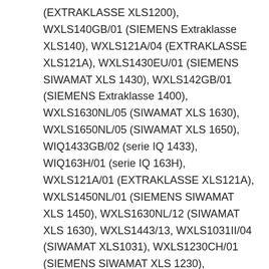(EXTRAKLASSE XLS1200), WXLS140GB/01 (SIEMENS Extraklasse XLS140), WXLS121A/04 (EXTRAKLASSE XLS121A), WXLS1430EU/01 (SIEMENS SIWAMAT XLS 1430), WXLS142GB/01 (SIEMENS Extraklasse 1400), WXLS1630NL/05 (SIWAMAT XLS 1630), WXLS1650NL/05 (SIWAMAT XLS 1650), WIQ1433GB/02 (serie IQ 1433), WIQ163H/01 (serie IQ 163H), WXLS121A/01 (EXTRAKLASSE XLS121A), WXLS1450NL/01 (SIEMENS SIWAMAT XLS 1450), WXLS1630NL/12 (SIWAMAT XLS 1630), WXLS1443/13, WXLS1031II/04 (SIWAMAT XLS1031), WXLS1230CH/01 (SIEMENS SIWAMAT XLS 1230), WIQ1634GB/03 (serie IQ 1634), WIQ1432EU/03 (serie IQ 1432), WIQ1630EU/01 (SIWAMAT serie IQ 1630), WXLS1231FG/01 (SIWAMAT XLS 1231), WIQ1635GB/01 (serie IQ 1635), WXLS1441GR/04 (SIWAMAT XLS1441), WXLS1650NL/04 (SIWAMAT XLS 1650),